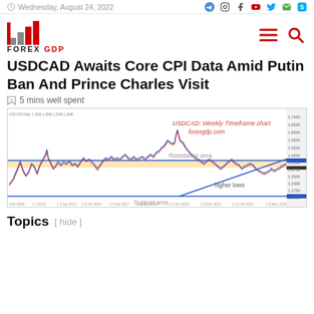Wednesday, August 24, 2022
[Figure (logo): Forex GDP logo with bar chart icon and text FOREX GDP]
USDCAD Awaits Core CPI Data Amid Putin Ban And Prince Charles Visit
5 mins well spent
[Figure (continuous-plot): USDCAD Weekly Timeframe chart from forexgdp.com showing price action with resistance area, support area, and higher lows trend line annotation]
Topics [ hide ]